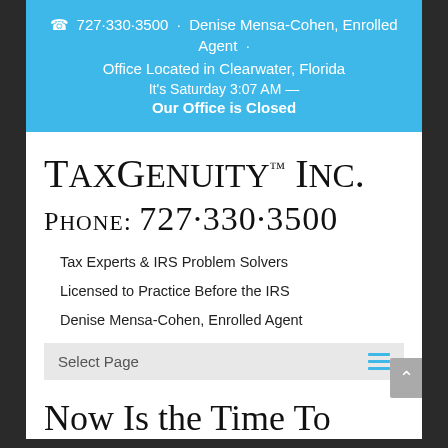☎ 727·330·3500 · Denise Mensa-Cohen, Enrolled Agent · Office Located in Clearwater, Florida
It's Saturday 3:07 AM — Our Office is Closed
TaxGenuity™, Inc.
Phone: 727·330·3500
Tax Experts & IRS Problem Solvers
Licensed to Practice Before the IRS
Denise Mensa-Cohen, Enrolled Agent
Select Page
Now Is the Time To